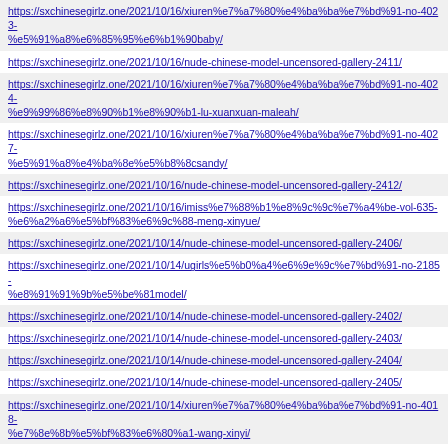https://sxchinesegirlz.one/2021/10/16/xiuren%e7%a7%80%e4%ba%ba%e7%bd%91-no-4023-%e5%91%a8%e6%85%95%e6%b1%90baby/
https://sxchinesegirlz.one/2021/10/16/nude-chinese-model-uncensored-gallery-2411/
https://sxchinesegirlz.one/2021/10/16/xiuren%e7%a7%80%e4%ba%ba%e7%bd%91-no-4024-%e9%99%86%e8%90%b1%e8%90%b1-lu-xuanxuan-maleah/
https://sxchinesegirlz.one/2021/10/16/xiuren%e7%a7%80%e4%ba%ba%e7%bd%91-no-4027-%e5%91%a8%e4%ba%8e%e5%b8%8csandy/
https://sxchinesegirlz.one/2021/10/16/nude-chinese-model-uncensored-gallery-2412/
https://sxchinesegirlz.one/2021/10/16/imiss%e7%88%b1%e8%9c%9c%e7%a4%be-vol-635-%e6%a2%a6%e5%bf%83%e6%9c%88-meng-xinyue/
https://sxchinesegirlz.one/2021/10/14/nude-chinese-model-uncensored-gallery-2406/
https://sxchinesegirlz.one/2021/10/14/ugirls%e5%b0%a4%e6%9e%9c%e7%bd%91-no-2185-%e8%91%91%9b%e5%be%81model/
https://sxchinesegirlz.one/2021/10/14/nude-chinese-model-uncensored-gallery-2402/
https://sxchinesegirlz.one/2021/10/14/nude-chinese-model-uncensored-gallery-2403/
https://sxchinesegirlz.one/2021/10/14/nude-chinese-model-uncensored-gallery-2404/
https://sxchinesegirlz.one/2021/10/14/nude-chinese-model-uncensored-gallery-2405/
https://sxchinesegirlz.one/2021/10/14/xiuren%e7%a7%80%e4%ba%ba%e7%bd%91-no-4018-%e7%8e%8b%e5%bf%83%e6%80%a1-wang-xinyi/
https://sxchinesegirlz.one/2021/10/14/xiuren%e7%a7%80%e4%ba%ba%e7%bd%91-no-4013-%e6%98%9f%e8%90%8c-xing-meng/
https://sxchinesegirlz.one/2021/10/14/xiuren%e7%a7%80%e4%ba%ba%e7%bd%91-no-4014-%e6%a8%a1%e7%89%b9%e5%90%88%e9%9b%86-model-collection/
https://sxchinesegirlz.one/2021/10/14/xiaoyu%e8%af%ad%e7%94%bb%e7%95%8c-vol-625-%e8%8a%9d%e8%8a%9dbooty/